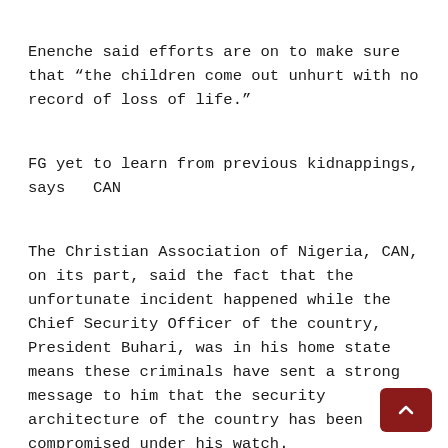Enenche said efforts are on to make sure that “the children come out unhurt with no record of loss of life.”
FG yet to learn from previous kidnappings, says   CAN
The Christian Association of Nigeria, CAN, on its part, said the fact that the unfortunate incident happened while the Chief Security Officer of the country, President Buhari, was in his home state means these criminals have sent a strong message to him that the security architecture of the country has been compromised under his watch.